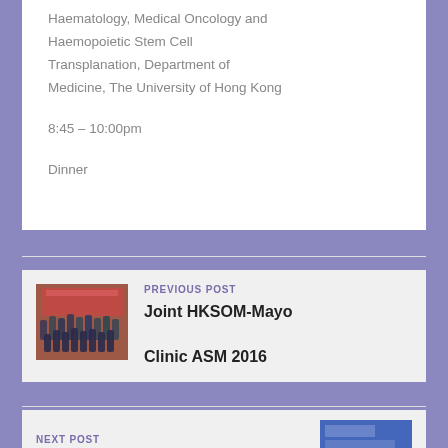Haematology, Medical Oncology and Haemopoietic Stem Cell Transplanation, Department of Medicine, The University of Hong Kong
8:45 – 10:00pm
Dinner
PREVIOUS POST
[Figure (photo): Group photo of people at an event]
Joint HKSOM-Mayo Clinic ASM 2016
NEXT POST
[Figure (photo): Partially visible image at the bottom right]